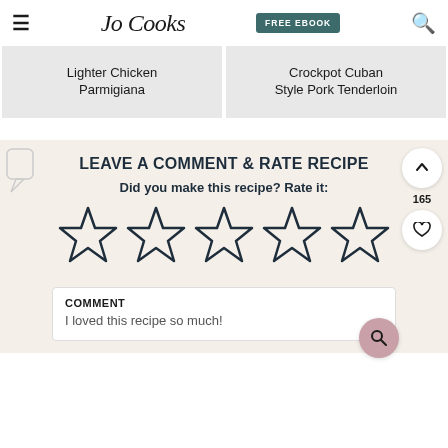Jo Cooks — FREE EBOOK
Lighter Chicken Parmigiana
Crockpot Cuban Style Pork Tenderloin
LEAVE A COMMENT & RATE RECIPE
Did you make this recipe? Rate it:
[Figure (other): Five empty star rating icons for user rating]
COMMENT
I loved this recipe so much!